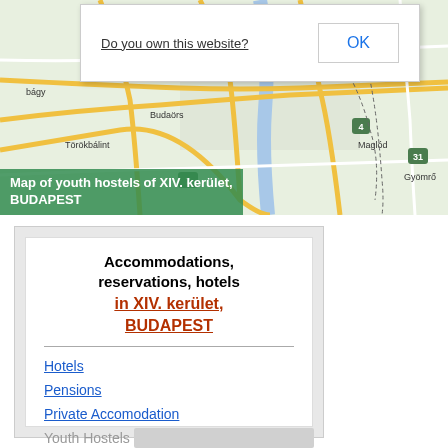[Figure (map): Google Maps view centered on Budapest XIV. kerület area, showing roads, neighboring towns like Budaörs, Törökbálint, Pécel, Maglód, Gyömrő]
Map of youth hostels of XIV. kerület, BUDAPEST
Do you own this website?
OK
Accommodations, reservations, hotels in XIV. kerület, BUDAPEST
Hotels
Pensions
Private Accomodation
Youth Hostels